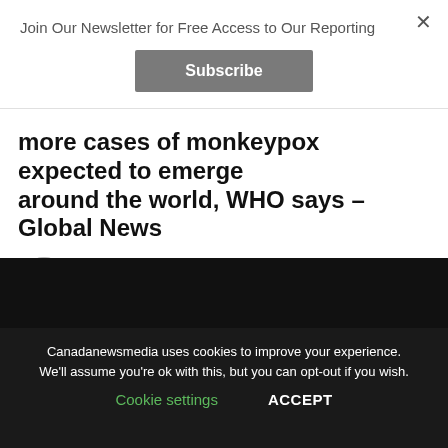Join Our Newsletter for Free Access to Our Reporting
Subscribe
more cases of monkeypox expected to emerge around the world, WHO says – Global News
Published 3 months ago  on May 22, 2022
By Harry Miller
[Figure (photo): Black media/video block]
Canadanewsmedia uses cookies to improve your experience. We'll assume you're ok with this, but you can opt-out if you wish.
Cookie settings   ACCEPT